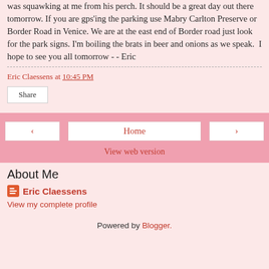was squawking at me from his perch. It should be a great day out there tomorrow. If you are gps'ing the parking use Mabry Carlton Preserve or Border Road in Venice. We are at the east end of Border road just look for the park signs. I'm boiling the brats in beer and onions as we speak.  I hope to see you all tomorrow - - Eric
Eric Claessens at 10:45 PM
Share
Home
View web version
About Me
Eric Claessens
View my complete profile
Powered by Blogger.